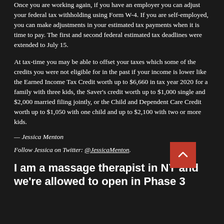Once you are working again, if you have an employer you can adjust your federal tax withholding using Form W-4. If you are self-employed, you can make adjustments in your estimated tax payments when it is time to pay. The first and second federal estimated tax deadlines were extended to July 15.
At tax-time you may be able to offset your taxes which some of the credits you were not eligible for in the past if your income is lower like the Earned Income Tax Credit worth up to $6,660 in tax year 2020 for a family with three kids, the Saver's credit worth up to $1,000 single and $2,000 married filing jointly, or the Child and Dependent Care Credit worth up to $1,050 with one child and up to $2,100 with two or more kids.
— Jessica Menton
Follow Jessica on Twitter: @JessicaMenton.
I am a massage therapist in NY and we're allowed to open in Phase 3